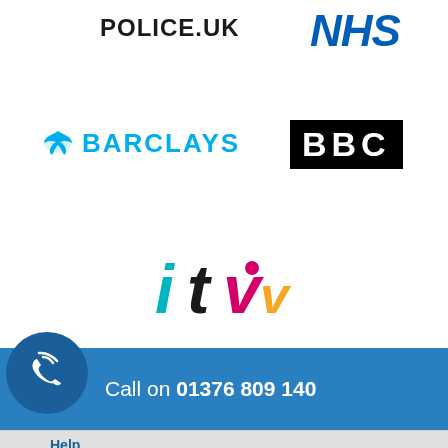[Figure (logo): POLICE.UK logo in black bold text]
[Figure (logo): NHS logo in blue italic bold text]
[Figure (logo): Barclays logo with eagle symbol in blue and blue bold text]
[Figure (logo): BBC logo white text on black background]
[Figure (logo): ITV logo in teal, black, magenta and orange colors]
Call on 01376 809 140
Help